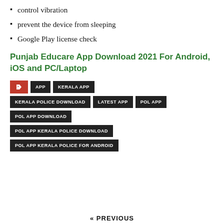control vibration
prevent the device from sleeping
Google Play license check
Punjab Educare App Download 2021 For Android, iOS and PC/Laptop
Tags: APP, KERALA APP, KERALA POLICE DOWNLOAD, LATEST APP, POL APP, POL APP DOWNLOAD, POL APP KERALA POLICE DOWNLOAD, POL APP KERALA POLICE FOR ANDROID
« PREVIOUS